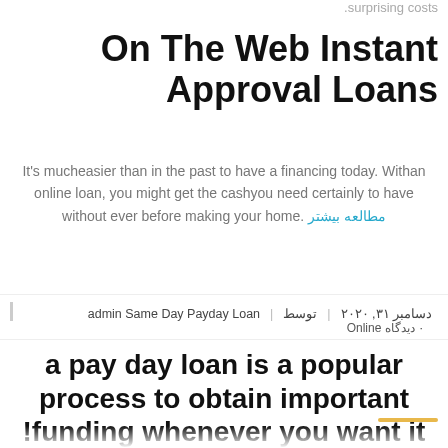.surprising costs
On The Web Instant Approval Loans
It's mucheasier than in the past to have a financing today. Withan online loan, you might get the cashyou need certainly to have without ever before making your home. مطالعه بیشتر
دسامبر ۳۱, ۲۰۲۰ | توسط | admin Same Day Payday Loan | ۰ دیدگاه Online
a pay day loan is a popular process to obtain important funding whenever you want it!